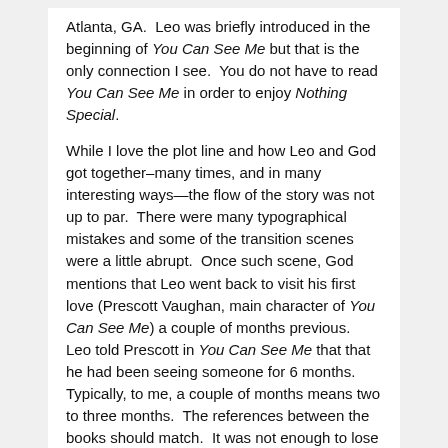Atlanta, GA.  Leo was briefly introduced in the beginning of You Can See Me but that is the only connection I see.  You do not have to read You Can See Me in order to enjoy Nothing Special.
While I love the plot line and how Leo and God got together–many times, and in many interesting ways—the flow of the story was not up to par.  There were many typographical mistakes and some of the transition scenes were a little abrupt.  Once such scene, God mentions that Leo went back to visit his first love (Prescott Vaughan, main character of You Can See Me) a couple of months previous.  Leo told Prescott in You Can See Me that that he had been seeing someone for 6 months.  Typically, to me, a couple of months means two to three months.  The references between the books should match.  It was not enough to lose complete focus but it was enough that I wondered if someone had missed some editing mistakes.  Because of this, I give Nothing Special 8 out of 10 pots of gold.
Nore about the author and other titles at...